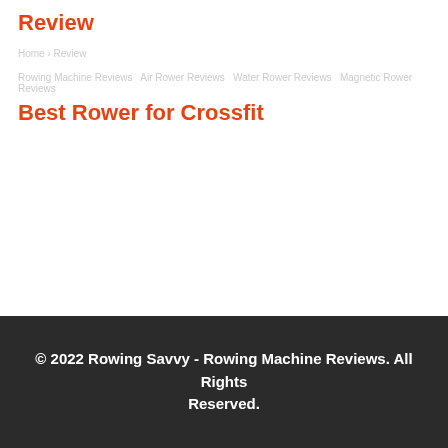Review
Best Rower for Crossfit
© 2022 Rowing Savvy - Rowing Machine Reviews. All Rights Reserved.